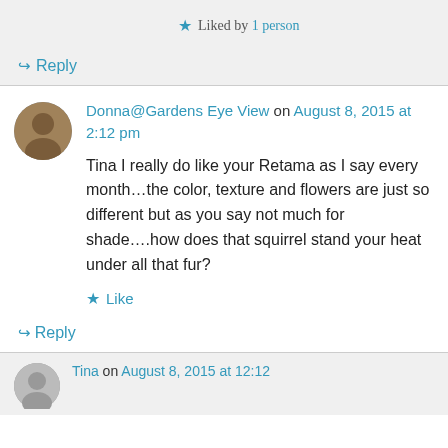★ Liked by 1 person
↪ Reply
Donna@Gardens Eye View on August 8, 2015 at 2:12 pm
Tina I really do like your Retama as I say every month…the color, texture and flowers are just so different but as you say not much for shade….how does that squirrel stand your heat under all that fur?
★ Like
↪ Reply
Tina on August 8, 2015 at 12:12